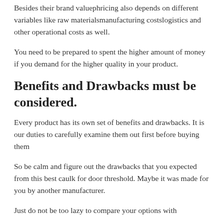Besides their brand valuephricing also depends on different variables like raw materialsmanufacturing costslogistics and other operational costs as well.
You need to be prepared to spent the higher amount of money if you demand for the higher quality in your product.
Benefits and Drawbacks must be considered.
Every product has its own set of benefits and drawbacks. It is our duties to carefully examine them out first before buying them
So be calm and figure out the drawbacks that you expected from this best caulk for door threshold. Maybe it was made for you by another manufacturer.
Just do not be too lazy to compare your options with